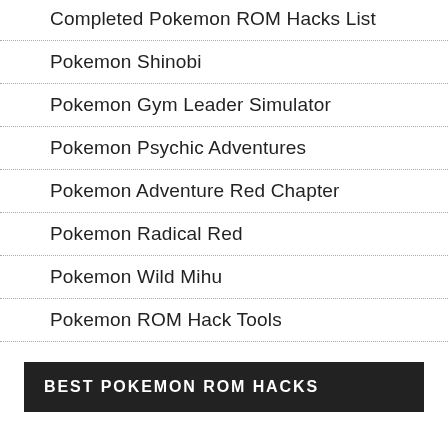Completed Pokemon ROM Hacks List
Pokemon Shinobi
Pokemon Gym Leader Simulator
Pokemon Psychic Adventures
Pokemon Adventure Red Chapter
Pokemon Radical Red
Pokemon Wild Mihu
Pokemon ROM Hack Tools
BEST POKEMON ROM HACKS
Alpha Release
Beta Release